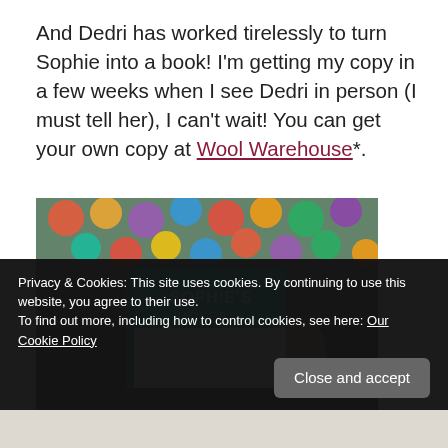And Dedri has worked tirelessly to turn Sophie into a book!  I'm getting my copy in a few weeks when I see Dedri in person (I must tell her), I can't wait!  You can get your own copy at Wool Warehouse*.
[Figure (photo): Photo of a person holding a turquoise 'Sophie's Universe' book in front of a colorful crocheted blanket]
Privacy & Cookies: This site uses cookies. By continuing to use this website, you agree to their use.
To find out more, including how to control cookies, see here: Our Cookie Policy